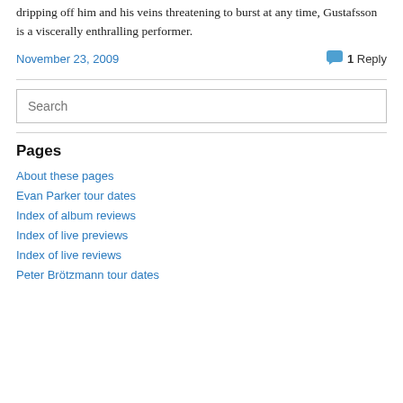dripping off him and his veins threatening to burst at any time, Gustafsson is a viscerally enthralling performer.
November 23, 2009    1 Reply
Search
Pages
About these pages
Evan Parker tour dates
Index of album reviews
Index of live previews
Index of live reviews
Peter Brötzmann tour dates